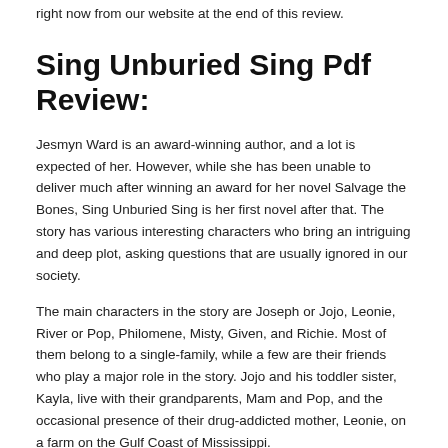right now from our website at the end of this review.
Sing Unburied Sing Pdf Review:
Jesmyn Ward is an award-winning author, and a lot is expected of her. However, while she has been unable to deliver much after winning an award for her novel Salvage the Bones, Sing Unburied Sing is her first novel after that. The story has various interesting characters who bring an intriguing and deep plot, asking questions that are usually ignored in our society.
The main characters in the story are Joseph or Jojo, Leonie, River or Pop, Philomene, Misty, Given, and Richie. Most of them belong to a single-family, while a few are their friends who play a major role in the story. Jojo and his toddler sister, Kayla, live with their grandparents, Mam and Pop, and the occasional presence of their drug-addicted mother, Leonie, on a farm on the Gulf Coast of Mississippi.
Leonie is simultaneously tormented and comforted by visions of